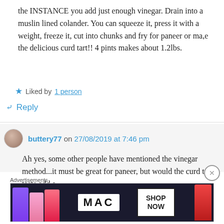the INSTANCE you add just enough vinegar. Drain into a muslin lined colander. You can squeeze it, press it with a weight, freeze it, cut into chunks and fry for paneer or ma,e the delicious curd tart!! 4 pints makes about 1.2lbs.
Liked by 1 person
↳ Reply
buttery77 on 27/08/2019 at 7:46 pm
Ah yes, some other people have mentioned the vinegar method...it must be great for paneer, but would the curd tart taste add a
Advertisements
[Figure (illustration): Advertisement banner for MAC cosmetics showing lipsticks and SHOP NOW button]